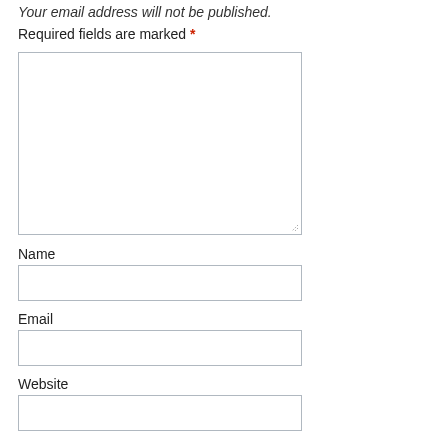Your email address will not be published.
Required fields are marked *
[Figure (other): Large comment text area input box with resize handle at bottom right]
Name
[Figure (other): Name text input field]
Email
[Figure (other): Email text input field]
Website
[Figure (other): Website text input field]